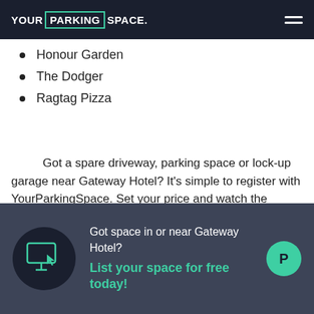YOUR PARKING SPACE.
Honour Garden
The Dodger
Ragtag Pizza
Got a spare driveway, parking space or lock-up garage near Gateway Hotel? It's simple to register with YourParkingSpace. Set your price and watch the bookings roll in.
[Figure (infographic): Dark banner with a monitor/computer icon in a black circle on the left, text asking 'Got space in or near Gateway Hotel?' with green CTA 'List your space for free today!', and a green circle with letter P on the right.]